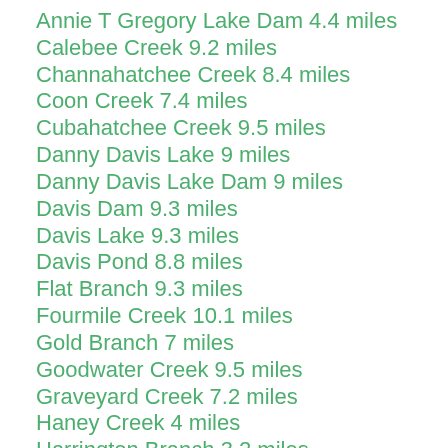Annie T Gregory Lake Dam 4.4 miles
Calebee Creek 9.2 miles
Channahatchee Creek 8.4 miles
Coon Creek 7.4 miles
Cubahatchee Creek 9.5 miles
Danny Davis Lake 9 miles
Danny Davis Lake Dam 9 miles
Davis Dam 9.3 miles
Davis Lake 9.3 miles
Davis Pond 8.8 miles
Flat Branch 9.3 miles
Fourmile Creek 10.1 miles
Gold Branch 7 miles
Goodwater Creek 9.5 miles
Graveyard Creek 7.2 miles
Haney Creek 4 miles
Harrington Branch 3.2 miles
Knight Lake 6.5 miles
Knight Lake Dam 6.5 miles
Lewis Creek 7.7 miles
Maier Lake 7.6 miles
Maier Lake Dam 7.6 miles
Martin Creek 9.9 miles